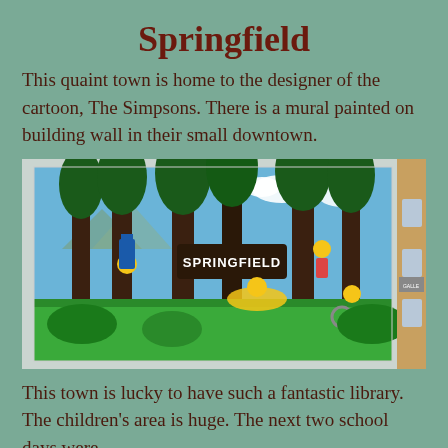Springfield
This quaint town is home to the designer of the cartoon, The Simpsons. There is a mural painted on building wall in their small downtown.
[Figure (photo): A large mural painted on a building wall in downtown Springfield showing The Simpsons characters (Marge, Bart, Homer, Lisa) in a forest/nature scene with a 'Springfield' sign, surrounded by tall trees and greenery.]
This town is lucky to have such a fantastic library. The children's area is huge. The next two school days were